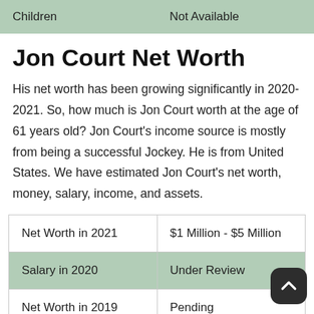|  |  |
| --- | --- |
| Children | Not Available |
Jon Court Net Worth
His net worth has been growing significantly in 2020-2021. So, how much is Jon Court worth at the age of 61 years old? Jon Court's income source is mostly from being a successful Jockey. He is from United States. We have estimated Jon Court's net worth, money, salary, income, and assets.
|  |  |
| --- | --- |
| Net Worth in 2021 | $1 Million - $5 Million |
| Salary in 2020 | Under Review |
| Net Worth in 2019 | Pending |